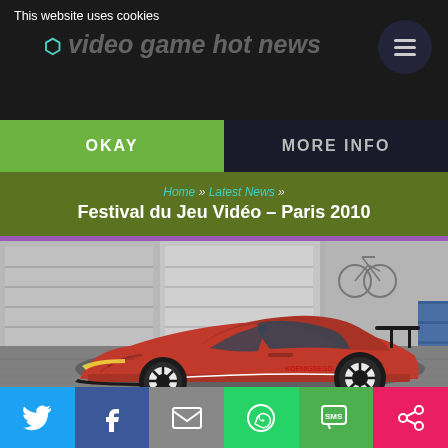video game hot news
This website uses cookies
OKAY   MORE INFO
Home » Latest News »
Festival du Jeu Vidéo – Paris 2010
[Figure (photo): Red Koenigsegg supercar parked in a grey urban setting with garage doors and a bicycle in background, black and white background with color car]
[Figure (infographic): Social sharing bar with icons: Twitter (blue), Facebook (dark blue), Email (grey), WhatsApp (green), SMS (green), Share (pink/red)]